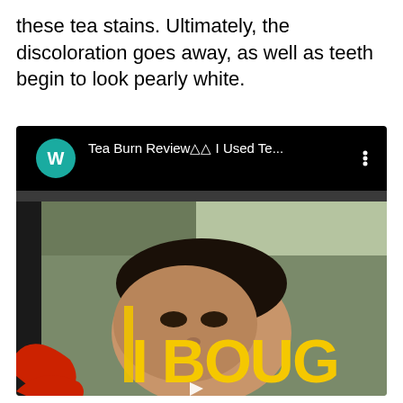these tea stains. Ultimately, the discoloration goes away, as well as teeth begin to look pearly white.
[Figure (screenshot): A YouTube video thumbnail showing a man's face with bold yellow text 'I BOUG' (truncated, likely 'I BOUGHT') overlaid. The video header shows a teal 'W' avatar icon, the title 'Tea Burn Review△△ I Used Te...' and a three-dot menu icon on a black background. At the bottom of the screenshot there is a red circular graphic and a play button icon.]